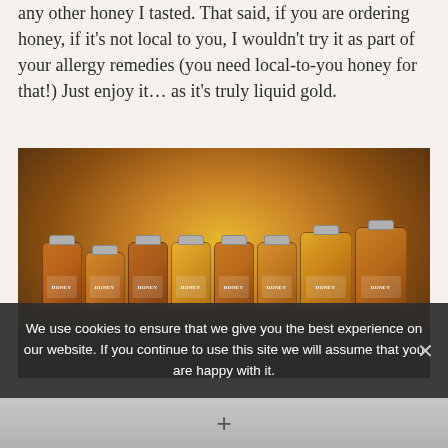any other honey I tasted. That said, if you are ordering honey, if it's not local to you, I wouldn't try it as part of your allergy remedies (you need local-to-you honey for that!) Just enjoy it… as it's truly liquid gold.
[Figure (photo): Multiple jars of honey with labels reading 'HONEY' arranged on a wooden shelf. Jars vary in size and shade of golden amber. Larger bottle-shaped containers visible on the right side.]
We use cookies to ensure that we give you the best experience on our website. If you continue to use this site we will assume that you are happy with it.